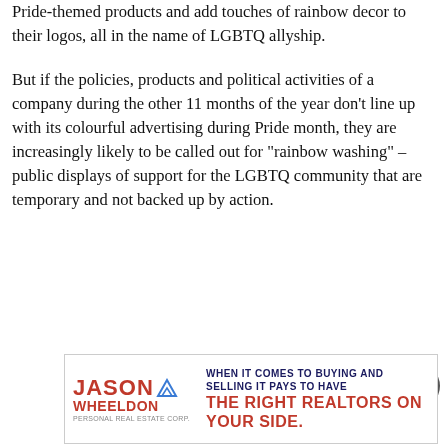Pride-themed products and add touches of rainbow decor to their logos, all in the name of LGBTQ allyship.
But if the policies, products and political activities of a company during the other 11 months of the year don’t line up with its colourful advertising during Pride month, they are increasingly likely to be called out for “rainbow washing” – public displays of support for the LGBTQ community that are temporary and not backed up by action.
[Figure (other): Advertisement for Jason Wheeldon realtors. Left side shows the name JASON WHEELDON in red bold text with a mountain logo. Right side reads: WHEN IT COMES TO BUYING AND SELLING IT PAYS TO HAVE THE RIGHT REALTORS ON YOUR SIDE.]